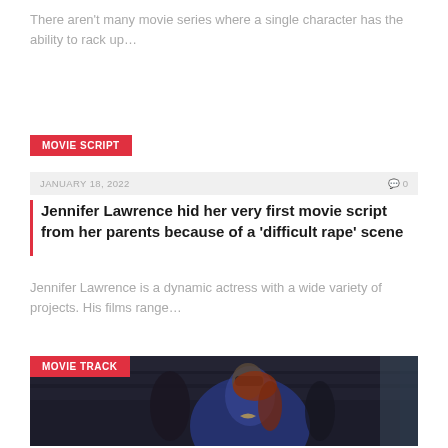There aren't many movie series where a single character has the ability to rack up…
MOVIE SCRIPT
JANUARY 18, 2022   ⌘0
Jennifer Lawrence hid her very first movie script from her parents because of a 'difficult rape' scene
Jennifer Lawrence is a dynamic actress with a wide variety of projects. His films range…
MOVIE TRACK
[Figure (photo): A person dressed in a blue superhero costume (Batgirl) with a mask, in a dark setting with stone walls in the background.]